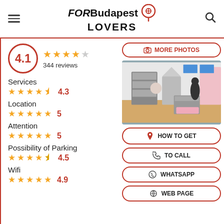FORBudapest LOVERS
4.1 — 344 reviews
Services 4.3
Location 5
Attention 5
Possibility of Parking 4.5
Wifi 4.9
[Figure (photo): Interior of a baby store with cribs, shelving, baby gear and pink textiles]
MORE PHOTOS
HOW TO GET
TO CALL
WHATSAPP
WEB PAGE